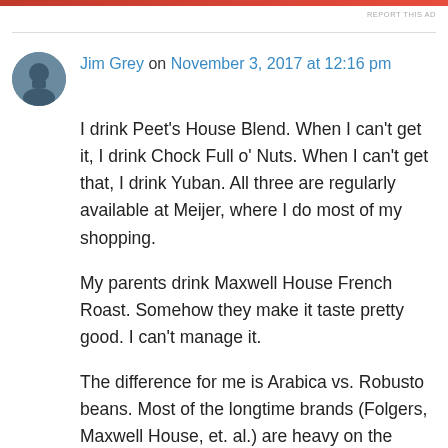REPORT THIS AD
Jim Grey on November 3, 2017 at 12:16 pm
I drink Peet's House Blend. When I can't get it, I drink Chock Full o' Nuts. When I can't get that, I drink Yuban. All three are regularly available at Meijer, where I do most of my shopping.
My parents drink Maxwell House French Roast. Somehow they make it taste pretty good. I can't manage it.
The difference for me is Arabica vs. Robusto beans. Most of the longtime brands (Folgers, Maxwell House, et. al.) are heavy on the Robusta beans. They just don't taste as good, with as much nuanced flavor, as the Arabica